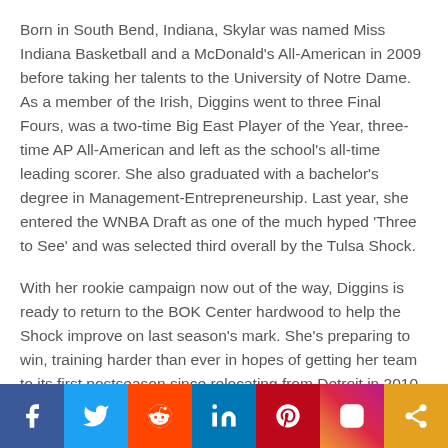Born in South Bend, Indiana, Skylar was named Miss Indiana Basketball and a McDonald's All-American in 2009 before taking her talents to the University of Notre Dame. As a member of the Irish, Diggins went to three Final Fours, was a two-time Big East Player of the Year, three-time AP All-American and left as the school's all-time leading scorer. She also graduated with a bachelor's degree in Management-Entrepreneurship. Last year, she entered the WNBA Draft as one of the much hyped 'Three to See' and was selected third overall by the Tulsa Shock.
With her rookie campaign now out of the way, Diggins is ready to return to the BOK Center hardwood to help the Shock improve on last season's mark. She's preparing to win, training harder than ever in hopes of getting her team to its first postseason since relocating from Detroit in 2010.
[Figure (other): Social media sharing bar with icons for Facebook, Twitter, Reddit, LinkedIn, Pinterest, Instagram, and share button]